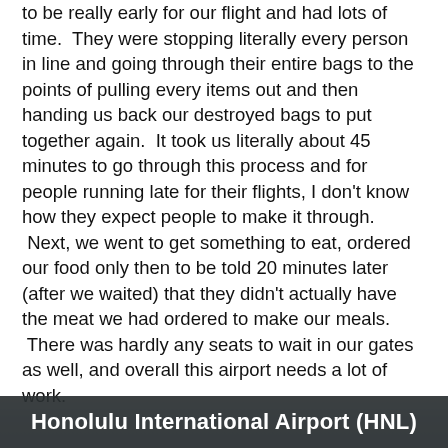to be really early for our flight and had lots of time. They were stopping literally every person in line and going through their entire bags to the points of pulling every items out and then handing us back our destroyed bags to put together again. It took us literally about 45 minutes to go through this process and for people running late for their flights, I don't know how they expect people to make it through. Next, we went to get something to eat, ordered our food only then to be told 20 minutes later (after we waited) that they didn't actually have the meat we had ordered to make our meals. There was hardly any seats to wait in our gates as well, and overall this airport needs a lot of work.
[Figure (photo): Photo of Honolulu International Airport interior with dark overlay banner showing the airport name]
Honolulu International Airport (HNL)